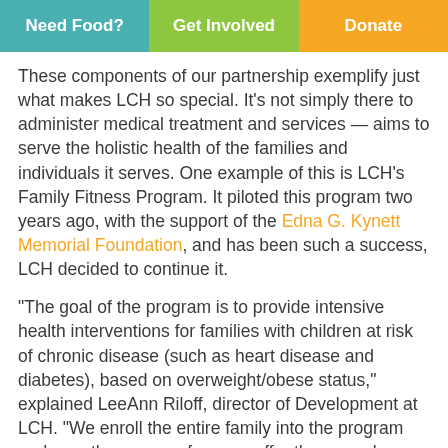Need Food? | Get Involved | Donate
These components of our partnership exemplify just what makes LCH so special. It’s not simply there to administer medical treatment and services — aims to serve the holistic health of the families and individuals it serves. One example of this is LCH’s Family Fitness Program. It piloted this program two years ago, with the support of the Edna G. Kynett Memorial Foundation, and has been such a success, LCH decided to continue it.
“The goal of the program is to provide intensive health interventions for families with children at risk of chronic disease (such as heart disease and diabetes), based on overweight/obese status,” explained LeeAnn Riloff, director of Development at LCH. “We enroll the entire family into the program and over the course of a year, offer them regular clinical check-ins, health education, consultation with a nutritionist, free healthy food bags and fitness equipment and deeply discounted family YMCA memberships.” The families also receive access to LCH’s special programs, including